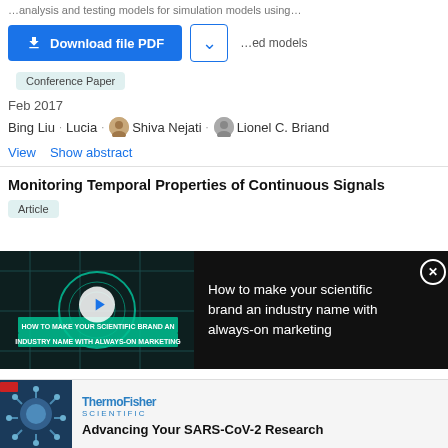[Figure (screenshot): Download file PDF button (blue) and chevron dropdown button]
Conference Paper
Feb 2017
Bing Liu · Lucia · Shiva Nejati · Lionel C. Briand
View   Show abstract
Monitoring Temporal Properties of Continuous Signals
Article
[Figure (screenshot): Video advertisement: How to make your scientific brand an industry name with always-on marketing. Dark overlay with video thumbnail and close button.]
[Figure (screenshot): Bottom advertisement: ThermoFisher Scientific - Advancing Your SARS-CoV-2 Research, with coronavirus image on the left.]